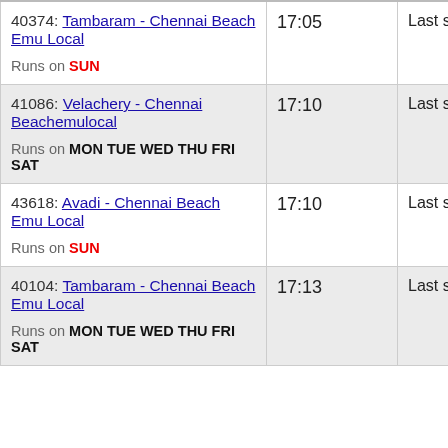| Train | Time | Stop |
| --- | --- | --- |
| 40374: Tambaram - Chennai Beach Emu Local
Runs on SUN | 17:05 | Last stop |
| 41086: Velachery - Chennai Beachemulocal
Runs on MON TUE WED THU FRI SAT | 17:10 | Last stop |
| 43618: Avadi - Chennai Beach Emu Local
Runs on SUN | 17:10 | Last stop |
| 40104: Tambaram - Chennai Beach Emu Local
Runs on MON TUE WED THU FRI SAT | 17:13 | Last stop |